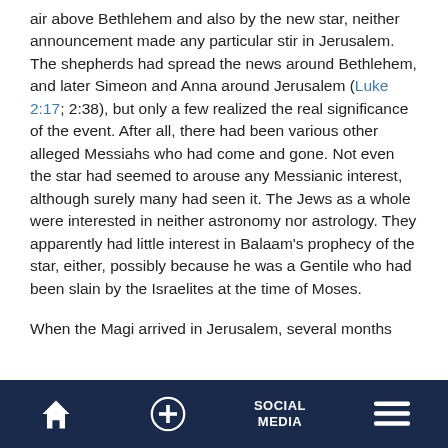air above Bethlehem and also by the new star, neither announcement made any particular stir in Jerusalem. The shepherds had spread the news around Bethlehem, and later Simeon and Anna around Jerusalem (Luke 2:17; 2:38), but only a few realized the real significance of the event. After all, there had been various other alleged Messiahs who had come and gone. Not even the star had seemed to arouse any Messianic interest, although surely many had seen it. The Jews as a whole were interested in neither astronomy nor astrology. They apparently had little interest in Balaam's prophecy of the star, either, possibly because he was a Gentile who had been slain by the Israelites at the time of Moses.
When the Magi arrived in Jerusalem, several months after the first…
Home | + | SOCIAL MEDIA | Menu